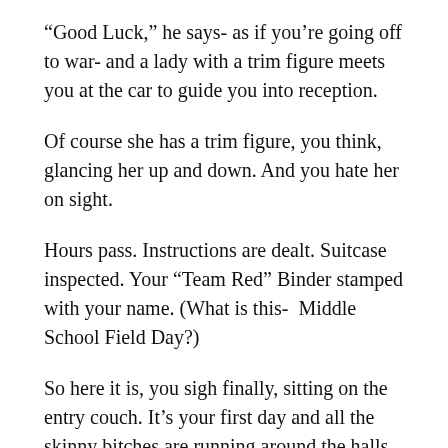“Good Luck,” he says- as if you’re going off to war- and a lady with a trim figure meets you at the car to guide you into reception.
Of course she has a trim figure, you think, glancing her up and down. And you hate her on sight.
Hours pass. Instructions are dealt. Suitcase inspected. Your “Team Red” Binder stamped with your name. (What is this-  Middle School Field Day?)
So here it is, you sigh finally, sitting on the entry couch. It’s your first day and all the skinny bitches are running around the halls with their feeding tube IVs and their waft figures, and here you are staring at some hand-crafted sort of from are patient 7: you not that and